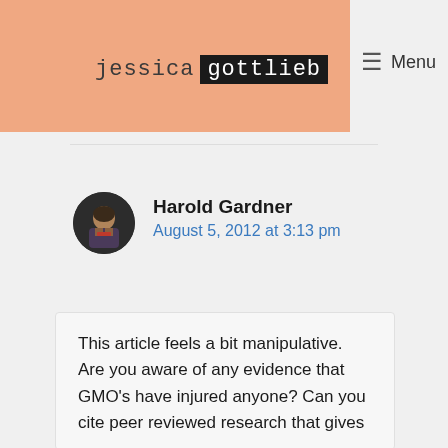jessica gottlieb
Menu
Harold Gardner
August 5, 2012 at 3:13 pm
This article feels a bit manipulative.  Are you aware of any evidence that GMO's have injured anyone?  Can you cite peer reviewed research that gives